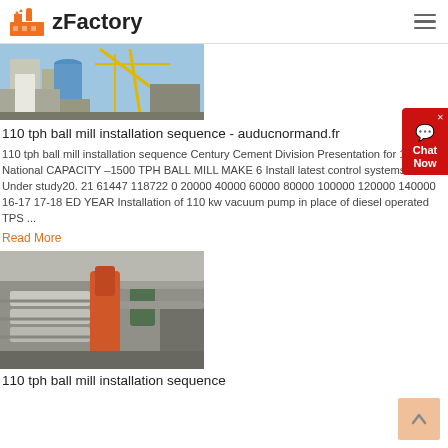zFactory
[Figure (photo): Industrial factory machinery with yellow cranes and silos against a blue sky]
110 tph ball mill installation sequence - auducnormand.fr
110 tph ball mill installation sequence Century Cement Division Presentation for 19 CII National CAPACITY –1500 TPH BALL MILL MAKE 6 Install latest control systems for mill Under study20. 21 61447 118722 0 20000 40000 60000 80000 100000 120000 140000 16-17 17-18 ED YEAR Installation of 110 kw vacuum pump in place of diesel operated TPS ...
Read More
[Figure (photo): Industrial ball mill equipment and machinery with metal structures and pipes]
110 tph ball mill installation sequence